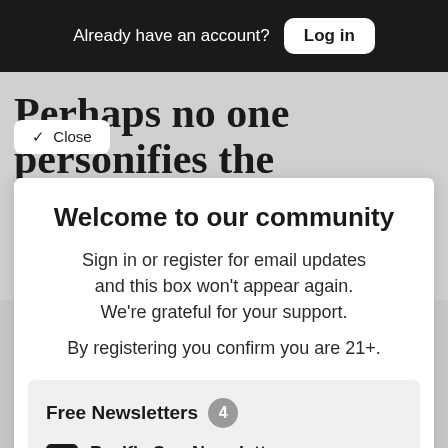Already have an account? Log in
Perhaps no one personifies the
r, outspoken, liberated
✓ Close
Welcome to our community
Sign in or register for email updates and this box won't appear again. We're grateful for your support.
By registering you confirm you are 21+.
Free Newsletters 4
Pacific Sun Newsletter (weekly)
News stories, arts and dining